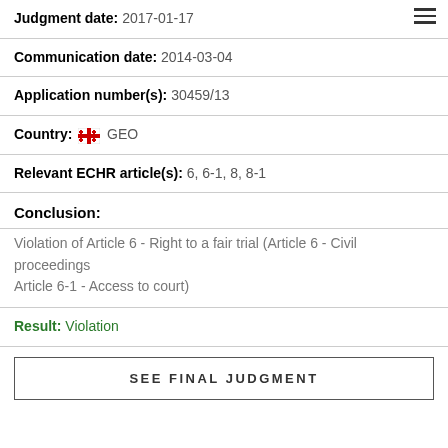Judgment date: 2017-01-17
Communication date: 2014-03-04
Application number(s): 30459/13
Country: GEO
Relevant ECHR article(s): 6, 6-1, 8, 8-1
Conclusion:
Violation of Article 6 - Right to a fair trial (Article 6 - Civil proceedings
Article 6-1 - Access to court)
Result: Violation
SEE FINAL JUDGMENT